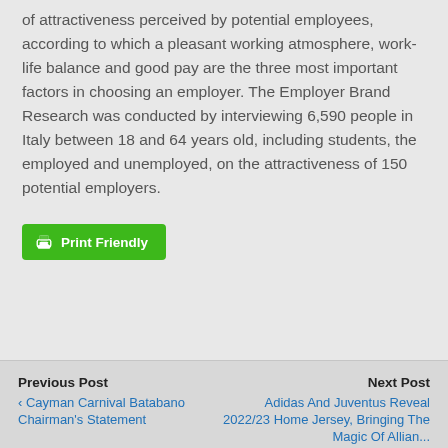of attractiveness perceived by potential employees, according to which a pleasant working atmosphere, work-life balance and good pay are the three most important factors in choosing an employer. The Employer Brand Research was conducted by interviewing 6,590 people in Italy between 18 and 64 years old, including students, the employed and unemployed, on the attractiveness of 150 potential employers.
[Figure (other): Print Friendly button (green button with printer icon and text 'Print Friendly')]
Previous Post | Cayman Carnival Batabano Chairman's Statement | Next Post | Adidas And Juventus Reveal 2022/23 Home Jersey, Bringing The Magic Of Allianz...